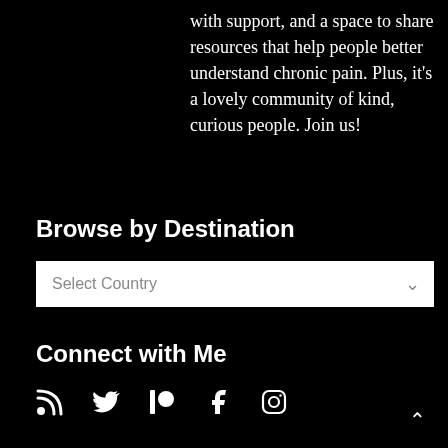with support, and a space to share resources that help people better understand chronic pain. Plus, it's a lovely community of kind, curious people. Join us!
Browse by Destination
Select Country
Connect with Me
[Figure (other): Social media icons: RSS feed, Twitter, Patreon, Facebook, Instagram]
^